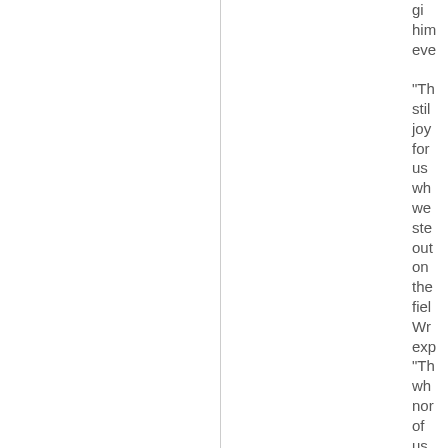gi
him
eve

"Th
stil
joy
for
us
wh
we
ste
out
on
the
fiel
Wr
exp
"Th
wh
nor
of
us
are
eve